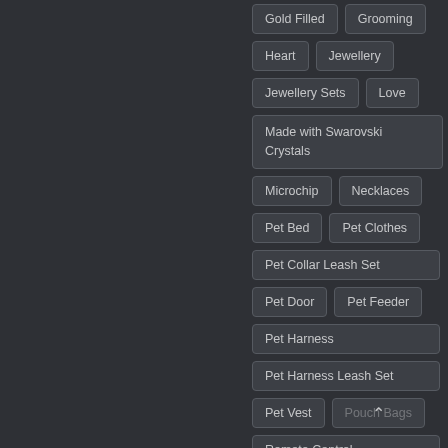Gold Filled
Grooming
Heart
Jewellery
Jewellery Sets
Love
Made with Swarovski Crystals
Microchip
Necklaces
Pet Bed
Pet Clothes
Pet Collar Leash Set
Pet Door
Pet Feeder
Pet Harness
Pet Harness Leash Set
Pet Vest
Pouch Bags
Remote Control